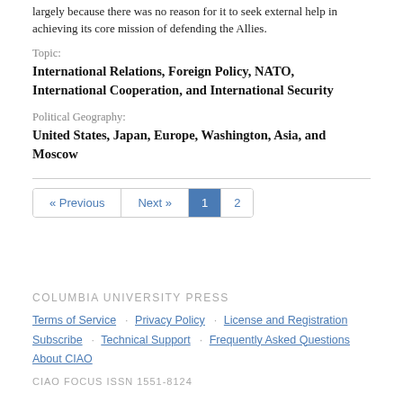largely because there was no reason for it to seek external help in achieving its core mission of defending the Allies.
Topic:
International Relations, Foreign Policy, NATO, International Cooperation, and International Security
Political Geography:
United States, Japan, Europe, Washington, Asia, and Moscow
« Previous  Next »  1  2
COLUMBIA UNIVERSITY PRESS
Terms of Service  Privacy Policy  License and Registration  Subscribe  Technical Support  Frequently Asked Questions  About CIAO
CIAO FOCUS ISSN 1551-8124